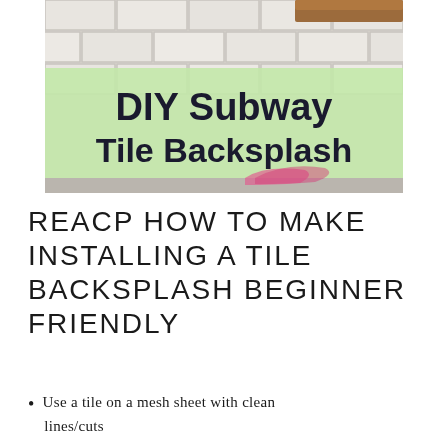[Figure (illustration): Photo of a subway tile backsplash with a wooden countertop edge visible, overlaid with a light green banner reading 'DIY Subway Tile Backsplash' in bold black text.]
REACP HOW TO MAKE INSTALLING A TILE BACKSPLASH BEGINNER FRIENDLY
Use a tile on a mesh sheet with clean lines/cuts